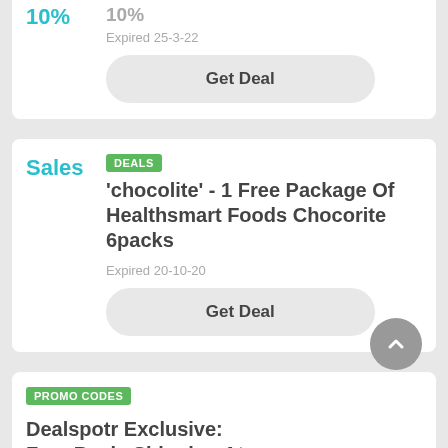10%
10%
Expired 25-3-22
Get Deal
DEALS
Sales
'chocolite' - 1 Free Package Of Healthsmart Foods Chocorite 6packs
Expired 20-10-20
Get Deal
PROMO CODES
Dealspotr Exclusive: Free Basic Shipping At